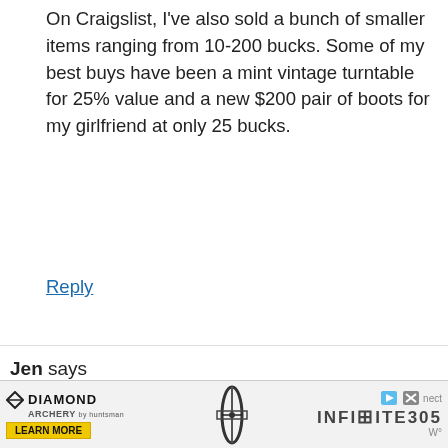On Craigslist, I've also sold a bunch of smaller items ranging from 10-200 bucks. Some of my best buys have been a mint vintage turntable for 25% value and a new $200 pair of boots for my girlfriend at only 25 bucks.
Reply
Jen says
February 19, 2007 at 3:14 pm
What about people who want way too much for their stuff? I have seem people who wanted to sell their stuff at 20% off the retail price when they have used it for months or years. I have even seemed people who want to sell their stuff more than what stores charge new. This is why I
[Figure (infographic): Diamond Archery advertisement banner showing logo, 'LEARN MORE' button, bow image, 'INFINITE 305' text, and ad close controls]